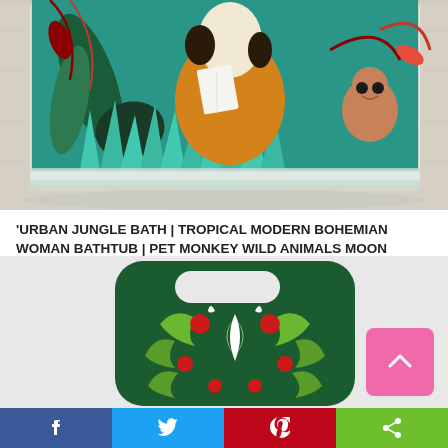[Figure (photo): Photo of a glass scented candle with tropical illustration featuring a woman in a bathtub, monkey, and jungle plants on a teal/green background, sitting on a wooden surface]
'URBAN JUNGLE BATH | TROPICAL MODERN BOHEMIAN WOMAN BATHTUB | PET MONKEY WILD ANIMALS MOON WATERCOLOR'
SCENTED CANDLES £22.50 £25.00
by Uma Prabhakar Gokhale
[Figure (photo): Phone case with dark green background and floral/botanical folk art pattern featuring green leaves, red flowers, and white design elements]
f | Twitter bird | Pinterest P | share icon